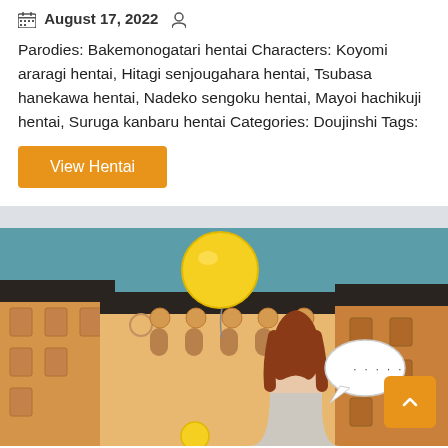August 17, 2022
Parodies: Bakemonogatari hentai Characters: Koyomi araragi hentai, Hitagi senjougahara hentai, Tsubasa hanekawa hentai, Nadeko sengoku hentai, Mayoi hachikuji hentai, Suruga kanbaru hentai Categories: Doujinshi Tags:
View Hentai
[Figure (illustration): Anime/manga style illustration showing a girl with long brown hair standing between buildings with a yellow balloon and a speech bubble containing dots. Urban background with tan/orange buildings and dark rooftops.]